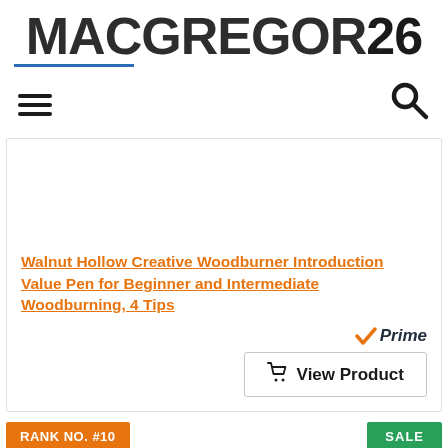[Figure (logo): MACGREGOR26 logo in large bold dark grey text with a blue underline beneath MACGREGOR]
[Figure (infographic): Navigation bar with hamburger menu icon on the left and magnifying glass search icon on the right]
Walnut Hollow Creative Woodburner Introduction Value Pen for Beginner and Intermediate Woodburning, 4 Tips
[Figure (infographic): Amazon Prime badge with orange checkmark and italic Prime text in dark color]
[Figure (infographic): View Product button with shopping cart icon]
RANK NO. #10
SALE